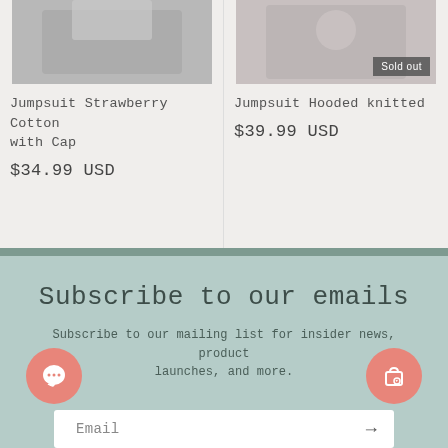[Figure (photo): Product photo of Jumpsuit Strawberry Cotton with Cap, partially visible at top left]
Jumpsuit Strawberry Cotton with Cap
$34.99 USD
[Figure (photo): Product photo of Jumpsuit Hooded Knitted with Sold out badge, partially visible at top right]
Jumpsuit Hooded Knitted
$39.99 USD
Subscribe to our emails
Subscribe to our mailing list for insider news, product launches, and more.
Email